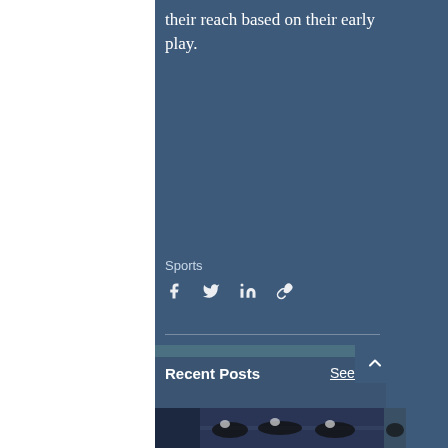their reach based on their early play.
Sports
[Figure (infographic): Social share icons: Facebook, Twitter, LinkedIn, Link/chain icon — white icons on dark blue background]
Recent Posts
See All
[Figure (photo): Swimmers in black swimsuits in starting positions on diving blocks at a swimming competition]